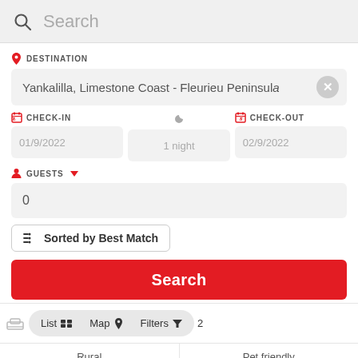Search
DESTINATION
Yankalilla, Limestone Coast - Fleurieu Peninsula
CHECK-IN
01/9/2022
1 night
CHECK-OUT
02/9/2022
GUESTS
0
Sorted by Best Match
Search
List
Map
Filters
2
Rural
Pet friendly